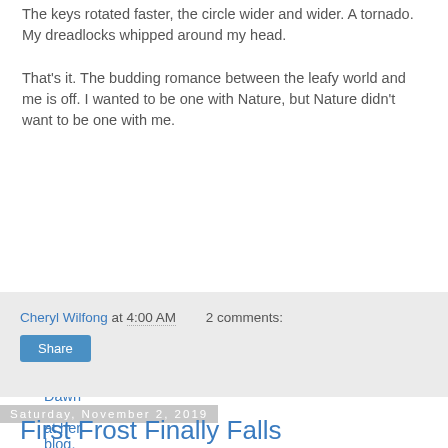The keys rotated faster, the circle wider and wider. A tornado. My dreadlocks whipped around my head.
That's it. The budding romance between the leafy world and me is off. I wanted to be one with Nature, but Nature didn't want to be one with me.
Read more Dawn Downey at her blog.
Read a Dawn Downey book.
Cheryl Wilfong at 4:00 AM   2 comments:
Share
Saturday, November 2, 2019
First Frost Finally Falls
[Figure (photo): Photo of frost-covered plant leaves, green and blue-toned foliage with frost visible.]